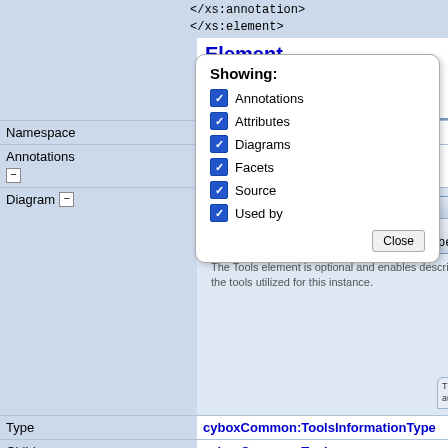</xs:annotation>
</xs:element>
Element stixCommon:InformationSourceType/stixCommon:Tools
| Field | Value |
| --- | --- |
| Namespace | http://stix.mitre.org/common-1 |
| Annotations | The Tools element is optional a... |
| Diagram |  |
[Figure (screenshot): Diagram showing Tools element box with Type cyboxCommon:ToolsInformationType, connected via line to a circle icon. Below the box is a description: 'The Tools element is optional and enables description of the tools utilized for this instance.']
[Figure (screenshot): Showing popup with checkboxes: Annotations, Attributes, Diagrams, Facets, Source, Used by. Close button at bottom.]
| Field | Value |
| --- | --- |
| Type | cyboxCommon:ToolsInformationType |
| Children | cyboxCommon:Tool |
| Source | <xs:element name="Tools" type="cyboxCommon:ToolsIn...
  <xs:annotation>
    <xs:documentation>The Tools element is optiona... utilized for this instance.</xs:documentation> |